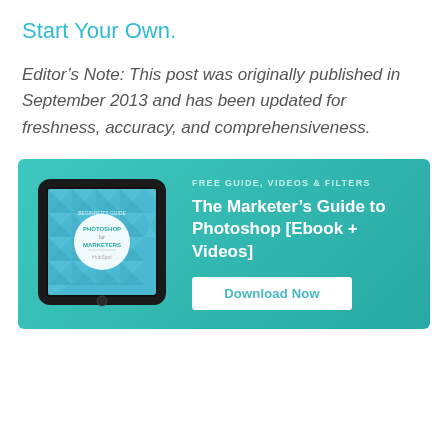Start Your Own.
Editor’s Note: This post was originally published in September 2013 and has been updated for freshness, accuracy, and comprehensiveness.
[Figure (infographic): Teal/turquoise banner advertisement with a tablet device on the left showing 'Photoshop for Marketers' ebook cover, and text on the right reading 'FREE GUIDE, VIDEOS & FILTERS' and 'The Marketer’s Guide to Photoshop [Ebook + Videos]' with a white 'Download Now' button.]